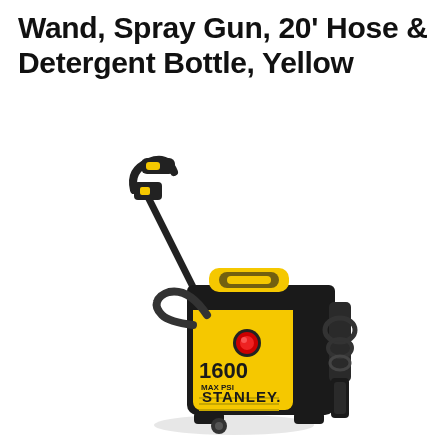Wand, Spray Gun, 20' Hose & Detergent Bottle, Yellow
[Figure (photo): Stanley 1600 MAX PSI electric pressure washer in yellow and black, shown with spray wand, hose coiled on right side, and detergent bottle attachment. The unit displays '1600 MAX PSI' and 'STANLEY' branding on the front.]